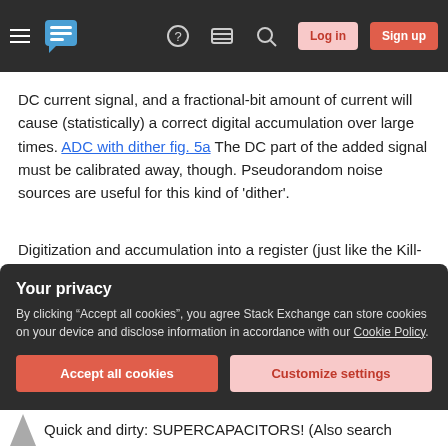Stack Exchange navigation bar with hamburger menu, logo, help, chat, search, Log in, Sign up buttons
DC current signal, and a fractional-bit amount of current will cause (statistically) a correct digital accumulation over large times. ADC with dither fig. 5a The DC part of the added signal must be calibrated away, though. Pseudorandom noise sources are useful for this kind of 'dither'.
Digitization and accumulation into a register (just like the Kill-a-watt) can work with easily available components, and some trickery tames its potential for mismeasurement.
Your privacy
By clicking "Accept all cookies", you agree Stack Exchange can store cookies on your device and disclose information in accordance with our Cookie Policy.
Accept all cookies   Customize settings
Quick and dirty: SUPERCAPACITORS! (Also search